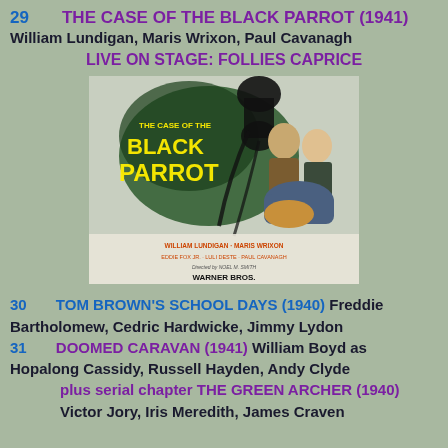29   THE CASE OF THE BLACK PARROT (1941)
William Lundigan, Maris Wrixon, Paul Cavanagh
LIVE ON STAGE: FOLLIES CAPRICE
[Figure (photo): Movie poster for 'The Case of the Black Parrot' (1941), Warner Bros. Shows title text in yellow on green/dark background with silhouette of a parrot, and actors William Lundigan and Maris Wrixon tending to a person. Credits: William Lundigan, Maris Wrixon, Eddie Fox Jr., Luli Deste, Paul Cavanagh. Directed by Noel M. Smith. Warner Bros.]
30   TOM BROWN'S SCHOOL DAYS (1940) Freddie Bartholomew, Cedric Hardwicke, Jimmy Lydon
31   DOOMED CARAVAN (1941) William Boyd as Hopalong Cassidy, Russell Hayden, Andy Clyde
plus serial chapter THE GREEN ARCHER (1940) Victor Jory, Iris Meredith, James Craven